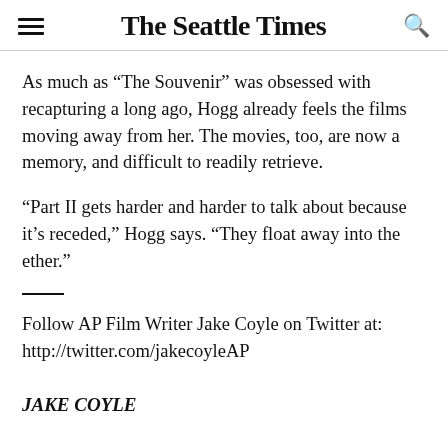The Seattle Times
As much as “The Souvenir” was obsessed with recapturing a long ago, Hogg already feels the films moving away from her. The movies, too, are now a memory, and difficult to readily retrieve.
“Part II gets harder and harder to talk about because it’s receded,” Hogg says. “They float away into the ether.”
Follow AP Film Writer Jake Coyle on Twitter at: http://twitter.com/jakecoyleAP
JAKE COYLE